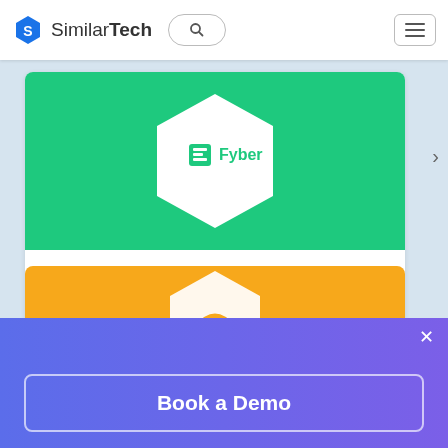[Figure (screenshot): SimilarTech website navigation bar with logo, search pill button, and hamburger menu]
[Figure (screenshot): Fyber product card with green banner containing white hexagon Fyber logo, title 'Fyber', subtitle 'Websites Using Fyber', and description 'App monetization and Video SSP.']
Fyber
Websites Using Fyber
App monetization and Video SSP.
[Figure (screenshot): Partial orange card with white hexagonal logo at bottom of page]
Book a Demo